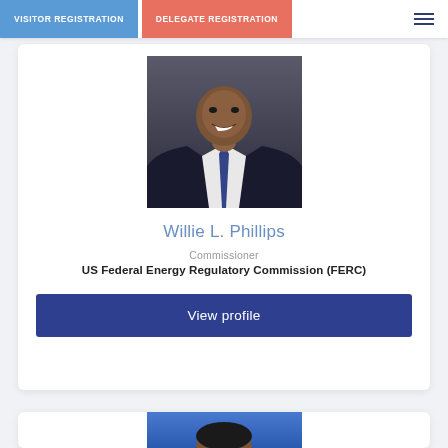VISITOR REGISTRATION | DELEGATE REGISTRATION
[Figure (photo): Professional headshot of Willie L. Phillips, a man in a dark suit with arms crossed, smiling, against a dark background]
Willie L. Phillips
Commissioner
US Federal Energy Regulatory Commission (FERC)
View profile
[Figure (photo): Partial headshot of another person, only top of head visible, against a blue background]